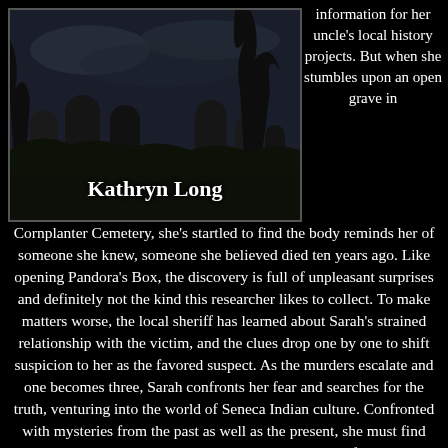[Figure (illustration): Book cover image showing a dark cemetery scene with tombstones and silhouettes, featuring the author name 'Kathryn Long' in white text]
information for her uncle's local history projects. But when she stumbles upon an open grave in Cornplanter Cemetery, she's startled to find the body reminds her of someone she knew, someone she believed died ten years ago. Like opening Pandora's Box, the discovery is full of unpleasant surprises and definitely not the kind this researcher likes to collect. To make matters worse, the local sheriff has learned about Sarah's strained relationship with the victim, and the clues drop one by one to shift suspicion to her as the favored suspect. As the murders escalate and one becomes three, Sarah confronts her fear and searches for the truth, venturing into the world of Seneca Indian culture. Confronted with mysteries from the past as well as the present, she must find their common link in order to discover the identity of the Grave Maker and stop his killing spree.